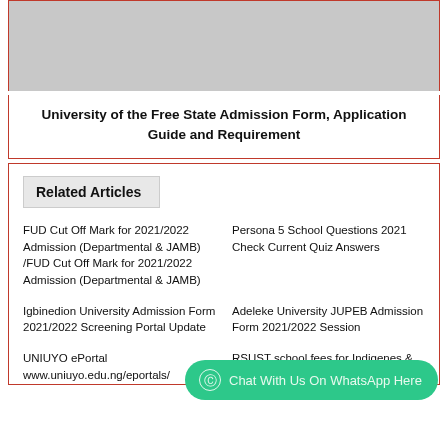[Figure (photo): Gray placeholder image at top of card]
University of the Free State Admission Form, Application Guide and Requirement
Related Articles
FUD Cut Off Mark for 2021/2022 Admission (Departmental & JAMB) /FUD Cut Off Mark for 2021/2022 Admission (Departmental & JAMB)
Persona 5 School Questions 2021 Check Current Quiz Answers
Igbinedion University Admission Form 2021/2022 Screening Portal Update
Adeleke University JUPEB Admission Form 2021/2022 Session
UNIUYO ePortal www.uniuyo.edu.ng/eportals/
RSUST school fees for Indigenes & non indigenes 2021/2022